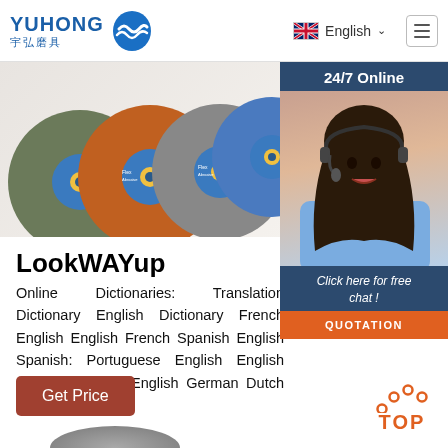YUHONG 宇弘磨具 — English navigation header with hamburger menu
[Figure (photo): Multiple grinding/abrasive discs in various colors (orange, green, grey) fanned out on a white background]
[Figure (photo): 24/7 Online chat widget overlay: dark blue header reading '24/7 Online', photo of female customer service agent with headset, text 'Click here for free chat!' and orange QUOTATION button]
LookWAYup
Online Dictionaries: Translation Dictionary English Dictionary French English English French Spanish English Spanish: Portuguese English English German English English German Dutch English Dutch
[Figure (other): Brown/red 'Get Price' button]
[Figure (other): Orange 'TOP' scroll-to-top button with dot arc above it]
[Figure (photo): Partial view of a grinding disc at the bottom of the page]